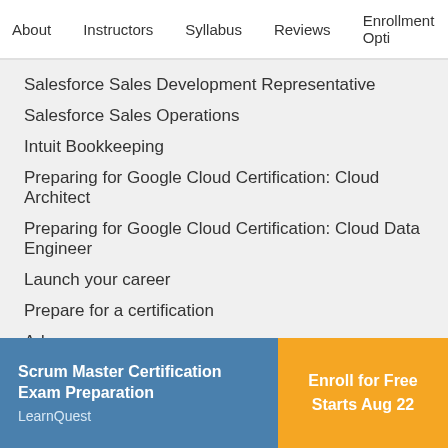About   Instructors   Syllabus   Reviews   Enrollment Opti
Salesforce Sales Development Representative
Salesforce Sales Operations
Intuit Bookkeeping
Preparing for Google Cloud Certification: Cloud Architect
Preparing for Google Cloud Certification: Cloud Data Engineer
Launch your career
Prepare for a certification
Advance your career
Scrum Master Certification Exam Preparation
LearnQuest
Enroll for Free
Starts Aug 22